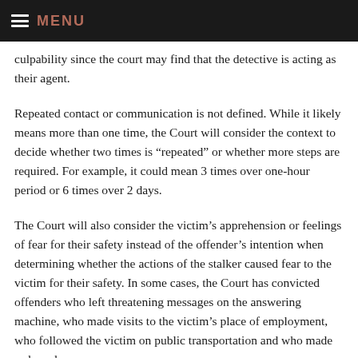MENU
culpability since the court may find that the detective is acting as their agent.
Repeated contact or communication is not defined. While it likely means more than one time, the Court will consider the context to decide whether two times is “repeated” or whether more steps are required. For example, it could mean 3 times over one-hour period or 6 times over 2 days.
The Court will also consider the victim’s apprehension or feelings of fear for their safety instead of the offender’s intention when determining whether the actions of the stalker caused fear to the victim for their safety. In some cases, the Court has convicted offenders who left threatening messages on the answering machine, who made visits to the victim’s place of employment, who followed the victim on public transportation and who made rude and